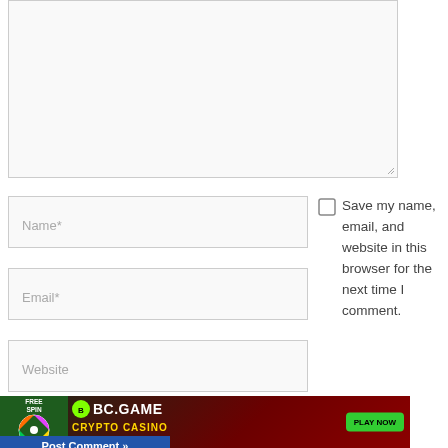[Figure (screenshot): Comment textarea input box (empty), light gray background with resize handle at bottom-right corner]
Name*
Email*
Website
Save my name, email, and website in this browser for the next time I comment.
[Figure (screenshot): BC.GAME Crypto Casino advertisement banner with Free Spin wheel, BC.GAME logo, CRYPTO CASINO text, PLAY NOW green button, and a close X button. Below is a 'Post Comment »' button in blue.]